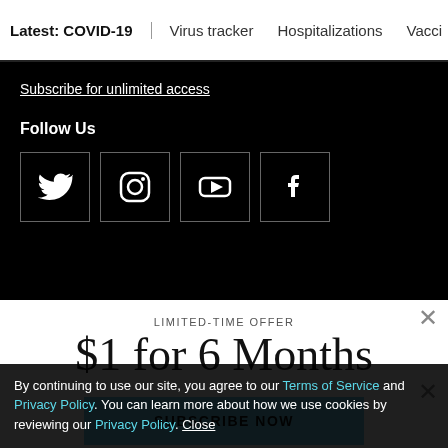Latest: COVID-19 | Virus tracker | Hospitalizations | Vacci
Subscribe for unlimited access
Follow Us
[Figure (other): Social media icons: Twitter, Instagram, YouTube, Facebook in square boxes]
LIMITED-TIME OFFER
$1 for 6 Months
SUBSCRIBE NOW
By continuing to use our site, you agree to our Terms of Service and Privacy Policy. You can learn more about how we use cookies by reviewing our Privacy Policy. Close